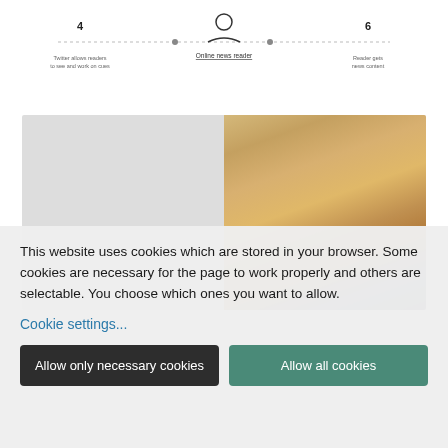[Figure (infographic): Numbered step diagram showing step 4 (Twitter allows readers to see and work on cues), step 5 (Online news reader with person icon), and step 6 (Reader gets news content). Connected by dotted lines.]
[Figure (photo): Side-by-side photos: left shows a young Asian man with baseball cap talking; right shows an older man with blonde hair speaking.]
This website uses cookies which are stored in your browser. Some cookies are necessary for the page to work properly and others are selectable. You choose which ones you want to allow.
Cookie settings...
Allow only necessary cookies
Allow all cookies